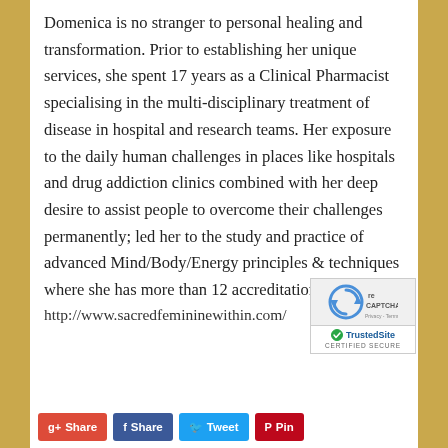Domenica is no stranger to personal healing and transformation. Prior to establishing her unique services, she spent 17 years as a Clinical Pharmacist specialising in the multi-disciplinary treatment of disease in hospital and research teams. Her exposure to the daily human challenges in places like hospitals and drug addiction clinics combined with her deep desire to assist people to overcome their challenges permanently; led her to the study and practice of advanced Mind/Body/Energy principles & techniques where she has more than 12 accreditations.
http://www.sacredfemininewithin.com/
[Figure (logo): TrustedSite CERTIFIED SECURE badge with reCAPTCHA logo]